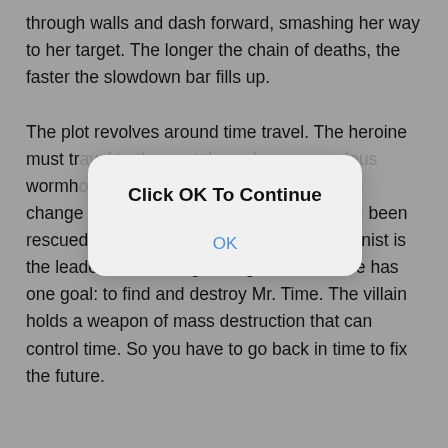through walls and dash forward, smashing her way to her target. The longer the chain of deaths, the faster the slowdown bar fills up.

The plot revolves around time travel. The heroine must travel to the past through an anomalous wormhole. The purposes of technicians can change depending on which scientists have been rescued in the bloody settings. The protagonist is the leader of an insurgent organization. She has one goal: to find and destroy Mr. Time. The villain holds a weapon of mass destruction that can control time. So you have to go back in time to fix the future.
[Figure (screenshot): A modal dialog box with white/light gray rounded rectangle background overlaid on the text. Title reads 'Click OK To Continue' in bold black text. Below is an 'OK' button in blue text.]